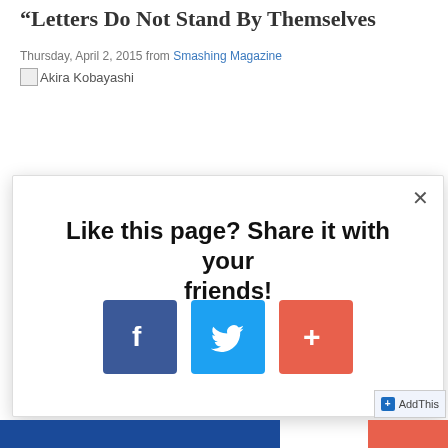“Letters Do Not Stand By Themselves”
Thursday, April 2, 2015 from Smashing Magazine
Akira Kobayashi
[Figure (screenshot): Share modal overlay with social buttons (Facebook, Twitter, Add) and text: Like this page? Share it with your friends!]
Like this page? Share it with your friends!
AddThis